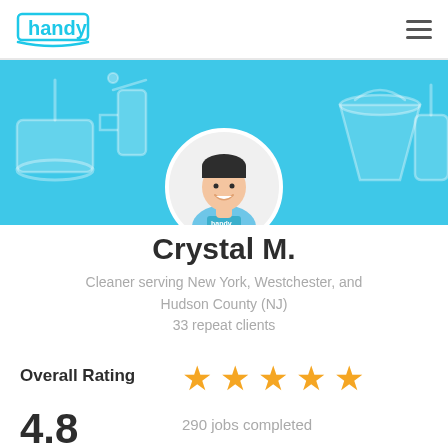[Figure (logo): Handy logo in teal/cyan color with stylized 'h' and text 'handy']
[Figure (illustration): Cyan banner background with cleaning tool icons (spray bottle, bucket, dustpan), and a circular avatar of a smiling cartoon person wearing a blue Handy uniform]
Crystal M.
Cleaner serving New York, Westchester, and Hudson County (NJ)
33 repeat clients
Overall Rating
[Figure (infographic): Five gold star rating icons]
290 jobs completed
4.8